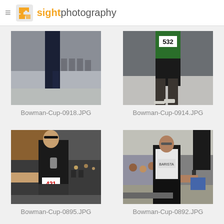sightphotography
[Figure (photo): Photo of person from waist down wearing dark navy pants and sneakers in an indoor venue with chairs]
Bowman-Cup-0918.JPG
[Figure (photo): Photo of runner from waist down wearing green and black shorts with race bib number 532]
Bowman-Cup-0914.JPG
[Figure (photo): Photo of man in black jacket holding a trophy/award, wearing race bib number 421, in a crowded indoor venue]
Bowman-Cup-0895.JPG
[Figure (photo): Photo of man in white vest top standing in an indoor venue with speakers and crowd in background]
Bowman-Cup-0892.JPG